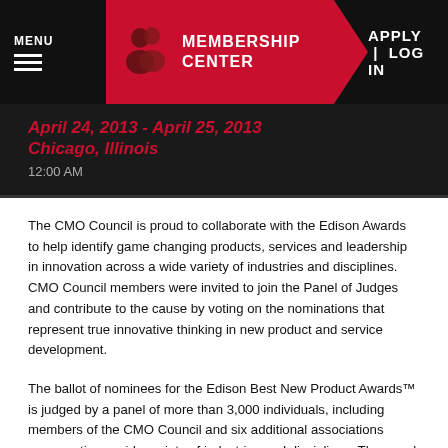MENU | MEMBERSHIP CENTER | APPLY | LOG IN
April 24, 2013 - April 25, 2013
Chicago, Illinois
12:00 AM
The CMO Council is proud to collaborate with the Edison Awards to help identify game changing products, services and leadership in innovation across a wide variety of industries and disciplines. CMO Council members were invited to join the Panel of Judges and contribute to the cause by voting on the nominations that represent true innovative thinking in new product and service development.
The ballot of nominees for the Edison Best New Product Awards™ is judged by a panel of more than 3,000 individuals, including members of the CMO Council and six additional associations representing a wide variety of industries and disciplines. The panel also includes professionals from the fields of product development & design, engineering, scientific and education. In this comprehensive, peer-review process, the nominees were judged on a set of evaluation criteria developed in partnership with Nielsen. These criteria represent a new definition of innovation, leveraging the primary themes of